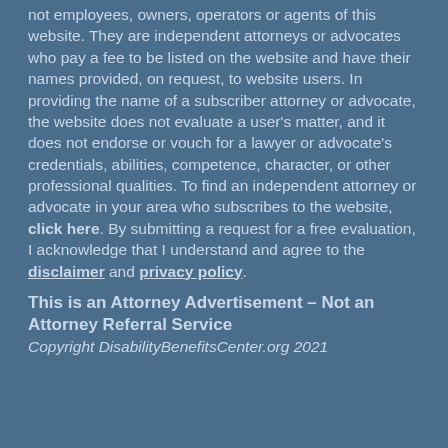not employees, owners, operators or agents of this website. They are independent attorneys or advocates who pay a fee to be listed on the website and have their names provided, on request, to website users. In providing the name of a subscriber attorney or advocate, the website does not evaluate a user's matter, and it does not endorse or vouch for a lawyer or advocate's credentials, abilities, competence, character, or other professional qualities. To find an independent attorney or advocate in your area who subscribes to the website, click here. By submitting a request for a free evaluation, I acknowledge that I understand and agree to the disclaimer and privacy policy.
This is an Attorney Advertisement – Not an Attorney Referral Service
Copyright DisabilityBenefitsCenter.org 2021